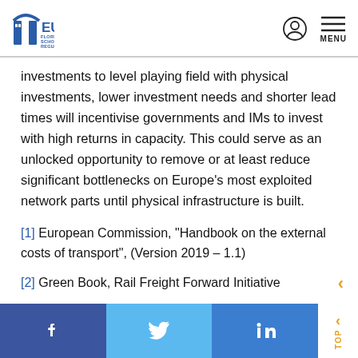EUI Florence School of Regulation
investments to level playing field with physical investments, lower investment needs and shorter lead times will incentivise governments and IMs to invest with high returns in capacity. This could serve as an unlocked opportunity to remove or at least reduce significant bottlenecks on Europe’s most exploited network parts until physical infrastructure is built.
[1] European Commission, “Handbook on the external costs of transport”, (Version 2019 – 1.1)
[2] Green Book, Rail Freight Forward Initiative
Facebook | Twitter | LinkedIn | TOP